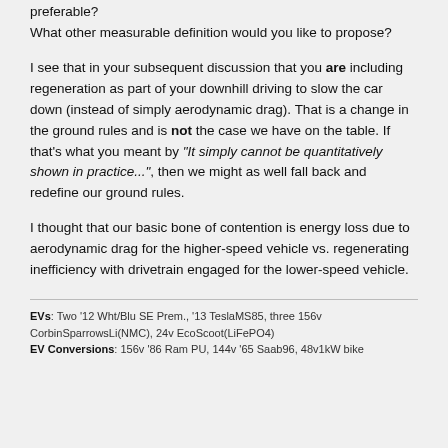preferable?
What other measurable definition would you like to propose?
I see that in your subsequent discussion that you are including regeneration as part of your downhill driving to slow the car down (instead of simply aerodynamic drag). That is a change in the ground rules and is not the case we have on the table. If that's what you meant by “It simply cannot be quantitatively shown in practice...”, then we might as well fall back and redefine our ground rules.
I thought that our basic bone of contention is energy loss due to aerodynamic drag for the higher-speed vehicle vs. regenerating inefficiency with drivetrain engaged for the lower-speed vehicle.
EVs: Two '12 Wht/Blu SE Prem., '13 TeslaMS85, three 156v CorbinSparrowsLi(NMC), 24v EcoScoot(LiFePO4)
EV Conversions: 156v '86 Ram PU, 144v '65 Saab96, 48v1kW bike